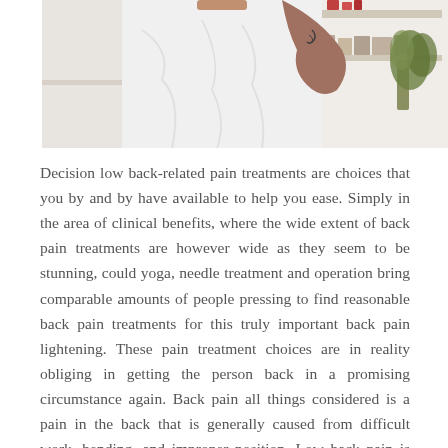[Figure (photo): A man in a white t-shirt reaching behind his back, apparently experiencing or demonstrating back pain, in a clinical/room setting with shelves and a plant in the background.]
Decision low back-related pain treatments are choices that you by and by have available to help you ease. Simply in the area of clinical benefits, where the wide extent of back pain treatments are however wide as they seem to be stunning, could yoga, needle treatment and operation bring comparable amounts of people pressing to find reasonable back pain treatments for this truly important back pain lightening. These pain treatment choices are in reality obliging in getting the person back in a promising circumstance again. Back pain all things considered is a pain in the back that is generally caused from difficult work, bending, and improper position. Low back pain is the most constant complaint when one ages, or if one is fixed and has driving for broadened